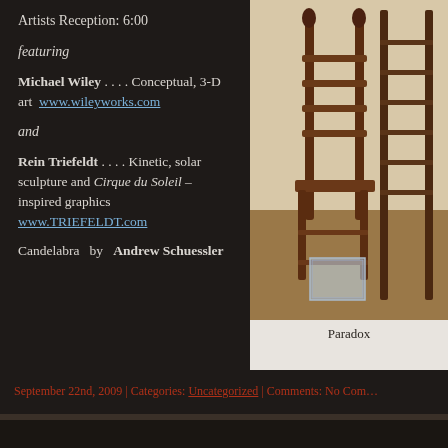Artists Reception: 6:00
featuring
Michael Wiley . . . . Conceptual, 3-D art www.wileyworks.com
and
Rein Triefeldt . . . . Kinetic, solar sculpture and Cirque du Soleil – inspired graphics www.TRIEFELDT.com
Candelabra by Andrew Schuessler
[Figure (photo): Photo of a wooden ladder-back chair/candelabra sculpture with a glass box at the base, and a ladder-like structure behind it, in a room with wooden floors. Captioned 'Paradox'.]
Paradox
September 22nd, 2009 | Categories: Uncategorized | Comments: No Comments